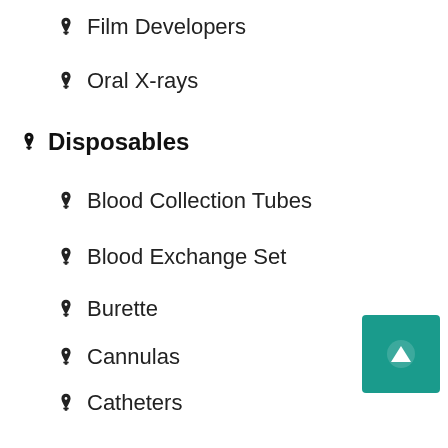Film Developers
Oral X-rays
Disposables
Blood Collection Tubes
Blood Exchange Set
Burette
Cannulas
Catheters
Cervix Spatulas
Conical Tubes